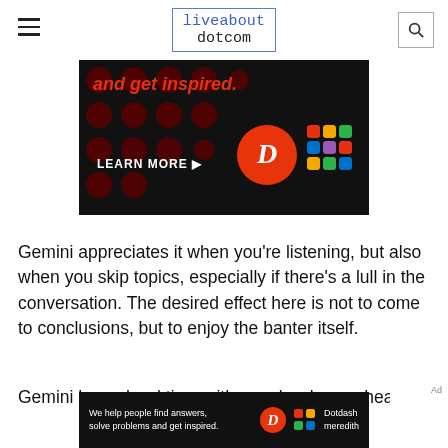liveabout dotcom
[Figure (screenshot): Advertisement banner with dark background, red dots pattern, 'LEARN MORE' button text, Dotdash D logo in red circle, and colorful Meredith lattice logo]
Gemini appreciates it when you’re listening, but also when you skip topics, especially if there’s a lull in the conversation.  The desired effect here is not to come to conclusions, but to enjoy the banter itself.
Gemini has a hard time with people who are heavily
[Figure (screenshot): Bottom ad banner: 'We help people find answers, solve problems and get inspired.' with Dotdash D logo and Dotdash Meredith text]